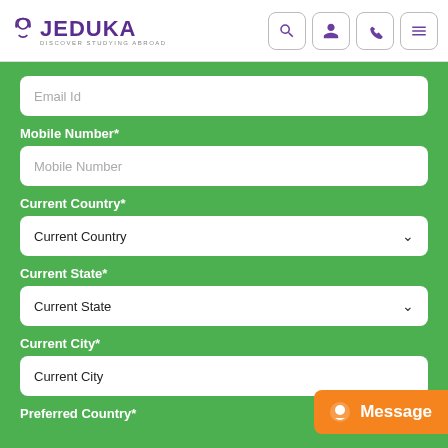JEDUKA — DISCOVER STUDYING ABROAD (navigation header with search, user, WhatsApp, menu icons)
Email Id
Mobile Number*
Mobile Number
Current Country*
Current Country
Current State*
Current State
Current City*
Current City
Preferred Country*
Message